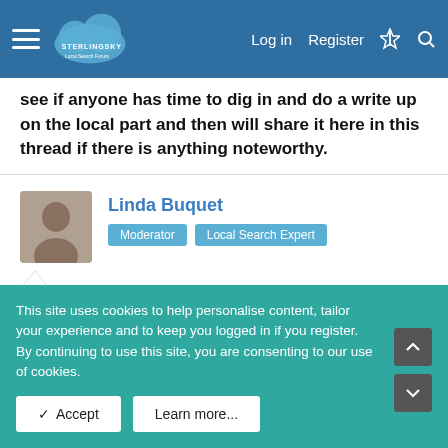Sterling Sky Local Search Forum — Log in | Register
see if anyone has time to dig in and do a write up on the local part and then will share it here in this thread if there is anything noteworthy.
Linda Buquet — Moderator, Local Search Expert
Jul 14, 2014 #4
Attn Pros: Just shared the link in the Private Pro forum. Post title is similar to this one.
This site uses cookies to help personalise content, tailor your experience and to keep you logged in if you register.
By continuing to use this site, you are consenting to our use of cookies.